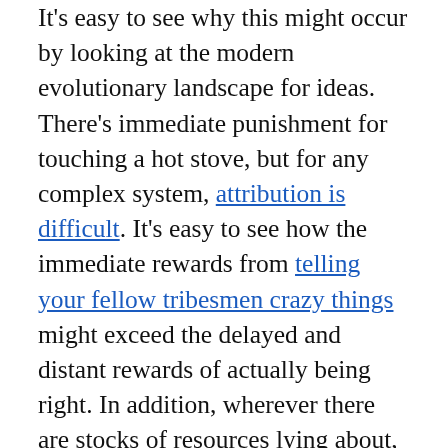It's easy to see why this might occur by looking at the modern evolutionary landscape for ideas. There's immediate punishment for touching a hot stove, but for any complex system, attribution is difficult. It's easy to see how the immediate rewards from telling your fellow tribesmen crazy things might exceed the delayed and distant rewards of actually being right. In addition, wherever there are stocks of resources lying about, there are strong incentives to succeed by appropriation rather than creation. If you're really clever with your argumentation, you can even make appropriation resemble creation.
The solution is to use our big brains to raise the bar, by making better use of models and other